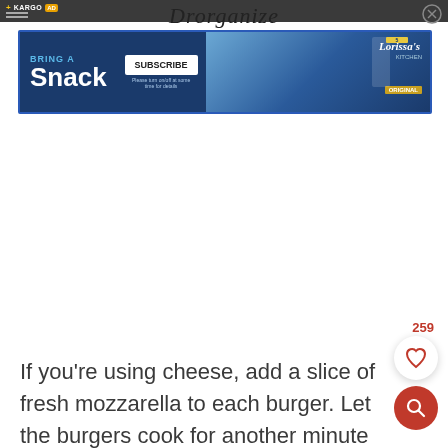[Figure (screenshot): Top navigation bar with Kargo Ad label on left, Drorganize script logo in center, and close button on right]
[Figure (screenshot): Advertisement banner for Lorissa's Kitchen snacks with blue background, 'Bring a Snack' text, Subscribe button, and product image]
259
If you’re using cheese, add a slice of fresh mozzarella to each burger. Let the burgers cook for another minute until the cheese melts.